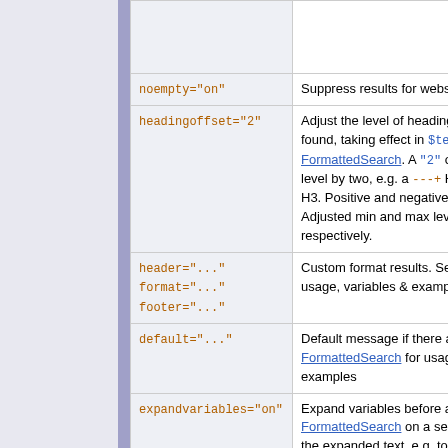| Parameter | Description |
| --- | --- |
|  |  |
| noempty="on" | Suppress results for webs |
| headingoffset="2" | Adjust the level of heading found, taking effect in $tex FormattedSearch. A "2" or level by two, e.g. a ---+ H1 H3. Positive and negative v Adjusted min and max leve respectively. |
| header="..." format="..." footer="..." | Custom format results. See usage, variables & exampl |
| default="..." | Default message if there a FormattedSearch for usage examples |
| expandvariables="on" | Expand variables before ap FormattedSearch on a sea the expanded text, e.g. to s SpreadSheetPlugin %CALC{ |